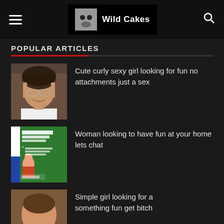Wild Cakes
POPULAR ARTICLES
[Figure (photo): Thumbnail photo of a middle-aged man with glasses and curly hair, wearing a white shirt]
Cute curly sexy girl looking for fun no attachments just a sex
[Figure (photo): Green promotional image with text 'Meet Kardish Employee Twinkle!' and a woman's photo]
Woman looking to have fun at your home lets chat
[Figure (photo): Partial thumbnail of a person]
Simple girl looking for a something fun get bitch